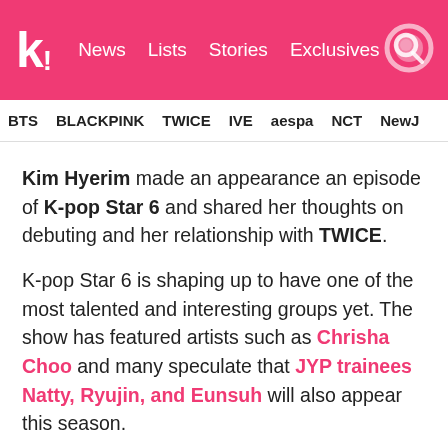koreaboo — News | Lists | Stories | Exclusives
BTS  BLACKPINK  TWICE  IVE  aespa  NCT  NewJ
Kim Hyerim made an appearance an episode of K-pop Star 6 and shared her thoughts on debuting and her relationship with TWICE.
K-pop Star 6 is shaping up to have one of the most talented and interesting groups yet. The show has featured artists such as Chrisha Choo and many speculate that JYP trainees Natty, Ryujin, and Eunsuh will also appear this season.
Former JYP trainee Kim Hyerim made an appearance on episode 6. The beautiful and